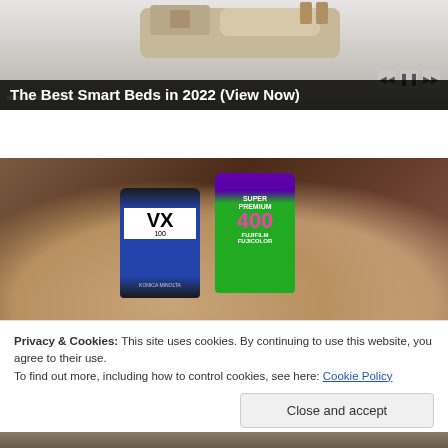[Figure (photo): Video/ad banner showing a smart bed with video player controls and progress bar segments]
The Best Smart Beds in 2022 (View Now)
[Figure (photo): A hand holding two film canisters: a blue Konica Minolta VX 100 and a green Fujifilm Super Premium 400]
Privacy & Cookies: This site uses cookies. By continuing to use this website, you agree to their use.
To find out more, including how to control cookies, see here: Cookie Policy
Close and accept
[Figure (photo): Partial bottom image of a person, partially visible]